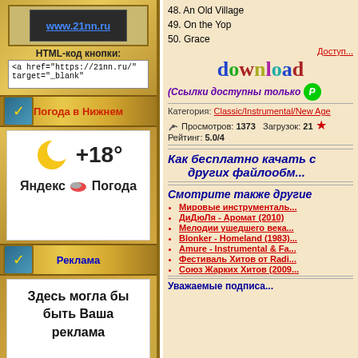[Figure (screenshot): Left panel: website banner for www.21nn.ru with gold bamboo decorative background]
HTML-код кнопки:
<a href="https://21nn.ru/" target="_blank"
Погода в Нижнем
[Figure (infographic): Weather widget showing moon icon, +18 degrees, Яндекс Погода branding]
Реклама
Здесь могла бы быть Ваша реклама
48. An Old Village
49. On the Yop
50. Grace
Доступ...
[Figure (other): Download image with colorful letters spelling 'download']
(Ссылки доступны только...
Категория: Classic/Instrumental/New Age
Просмотров: 1373   Загрузок: 21   Рейтинг: 5.0/4
Как бесплатно качать с... других файлообм...
Смотрите также другие...
Мировые инструменталь...
ДиДюЛя - Аромат (2010)
Мелодии ушедшего века...
Blonker - Homeland (1983)...
Amure - Instrumental & Fa...
Фестиваль Хитов от Radi...
Союз Жарких Хитов (2009...
Уважаемые подписа...